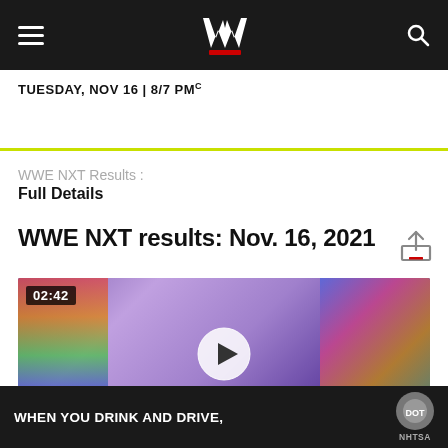WWE navigation bar with hamburger menu, WWE logo, and search icon
TUESDAY, NOV 16 | 8/7 PMc
WWE NXT Results : Full Details
WWE NXT results: Nov. 16, 2021
[Figure (screenshot): Video thumbnail showing a WWE NXT event scene with purple lighting and wrestlers, timestamp 02:42 displayed in top-left, play button in center, NXT branding visible]
WHEN YOU DRINK AND DRIVE,